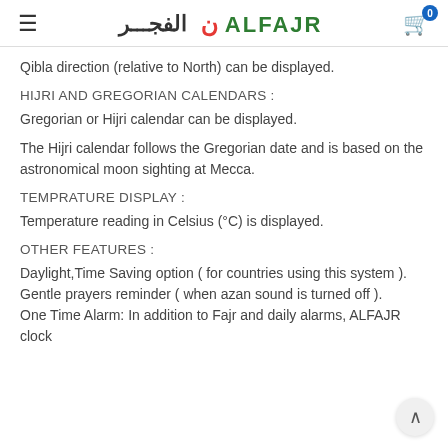ALFAJR الفجر
Qibla direction (relative to North) can be displayed.
HIJRI AND GREGORIAN CALENDARS :
Gregorian or Hijri calendar can be displayed.
The Hijri calendar follows the Gregorian date and is based on the astronomical moon sighting at Mecca.
TEMPRATURE DISPLAY :
Temperature reading in Celsius (°C) is displayed.
OTHER FEATURES :
Daylight,Time Saving option ( for countries using this system ). Gentle prayers reminder ( when azan sound is turned off ). One Time Alarm: In addition to Fajr and daily alarms, ALFAJR clock